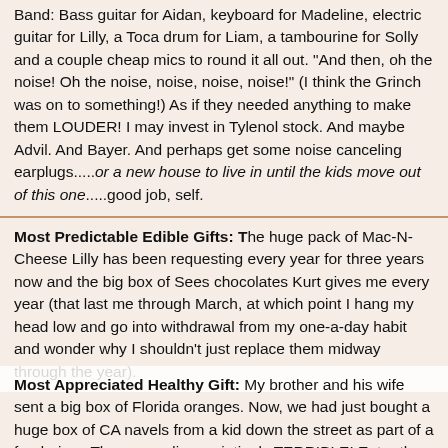Band: Bass guitar for Aidan, keyboard for Madeline, electric guitar for Lilly, a Toca drum for Liam, a tambourine for Solly and a couple cheap mics to round it all out. "And then, oh the noise! Oh the noise, noise, noise, noise!" (I think the Grinch was on to something!) As if they needed anything to make them LOUDER! I may invest in Tylenol stock. And maybe Advil. And Bayer. And perhaps get some noise canceling earplugs.....or a new house to live in until the kids move out of this one.....good job, self.
Most Predictable Edible Gifts: The huge pack of Mac-N-Cheese Lilly has been requesting every year for three years now and the big box of Sees chocolates Kurt gives me every year (that last me through March, at which point I hang my head low and go into withdrawal from my one-a-day habit and wonder why I shouldn't just replace them midway through the year).
Most Appreciated Healthy Gift: My brother and his wife sent a big box of Florida oranges. Now, we had just bought a huge box of CA navels from a kid down the street as part of a fundraiser. They were disappointingly TERRIBLE! Enter the box of Florida Oranges, that included Navel, Red Navel...